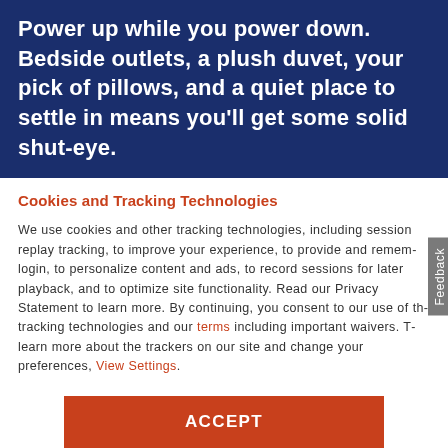Power up while you power down. Bedside outlets, a plush duvet, your pick of pillows, and a quiet place to settle in means you'll get some solid shut-eye.
Cookies and Tracking Technologies
We use cookies and other tracking technologies, including session replay tracking, to improve your experience, to provide and remember login, to personalize content and ads, to record sessions for later playback, and to optimize site functionality. Read our Privacy Statement to learn more. By continuing, you consent to our use of these tracking technologies and our terms including important waivers. To learn more about the trackers on our site and change your preferences, View Settings.
ACCEPT
CHECK AVAILABILITY